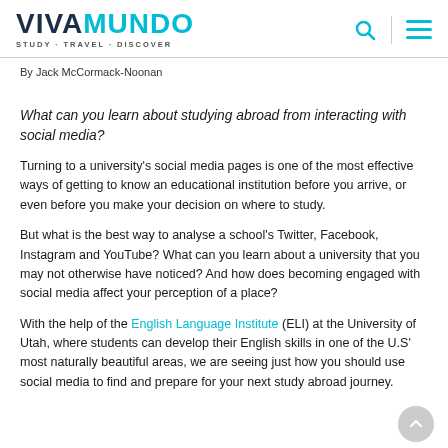VIVAMUNDO STUDY - TRAVEL - DISCOVER
By Jack McCormack-Noonan
What can you learn about studying abroad from interacting with social media?
Turning to a university's social media pages is one of the most effective ways of getting to know an educational institution before you arrive, or even before you make your decision on where to study.
But what is the best way to analyse a school's Twitter, Facebook, Instagram and YouTube? What can you learn about a university that you may not otherwise have noticed? And how does becoming engaged with social media affect your perception of a place?
With the help of the English Language Institute (ELI) at the University of Utah, where students can develop their English skills in one of the U.S' most naturally beautiful areas, we are seeing just how you should use social media to find and prepare for your next study abroad journey.